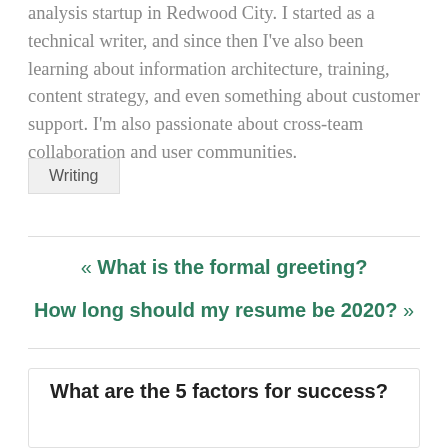analysis startup in Redwood City. I started as a technical writer, and since then I've also been learning about information architecture, training, content strategy, and even something about customer support. I'm also passionate about cross-team collaboration and user communities.
Writing
« What is the formal greeting?
How long should my resume be 2020? »
What are the 5 factors for success?